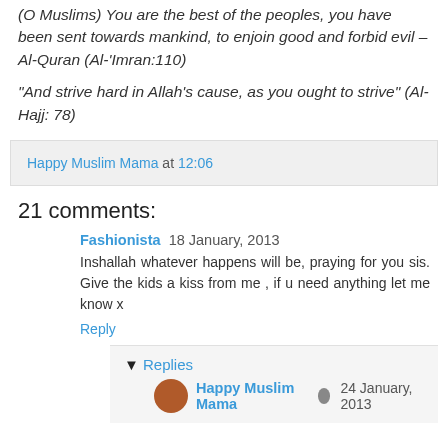(O Muslims) You are the best of the peoples, you have been sent towards mankind, to enjoin good and forbid evil – Al-Quran (Al-'Imran:110)
“And strive hard in Allah’s cause, as you ought to strive” (Al-Hajj: 78)
Happy Muslim Mama at 12:06
21 comments:
Fashionista  18 January, 2013
Inshallah whatever happens will be, praying for you sis. Give the kids a kiss from me , if u need anything let me know x
Reply
Replies
Happy Muslim Mama  24 January, 2013